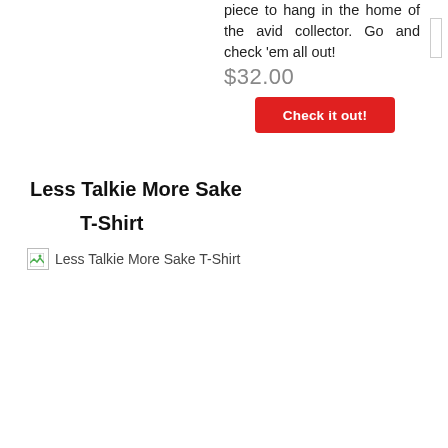piece to hang in the home of the avid collector. Go and check 'em all out!
$32.00
Check it out!
Less Talkie More Sake T-Shirt
[Figure (photo): Broken/placeholder image for Less Talkie More Sake T-Shirt]